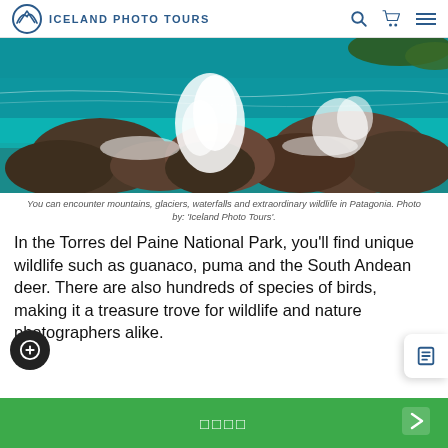ICELAND PHOTO TOURS
[Figure (photo): Ocean waves crashing against rocky coastline in Patagonia, vibrant turquoise water with white foam spray, dark rocks in foreground and background with vegetation visible.]
You can encounter mountains, glaciers, waterfalls and extraordinary wildlife in Patagonia. Photo by: 'Iceland Photo Tours'.
In the Torres del Paine National Park, you'll find unique wildlife such as guanaco, puma and the South Andean deer. There are also hundreds of species of birds, making it a treasure trove for wildlife and nature photographers alike.